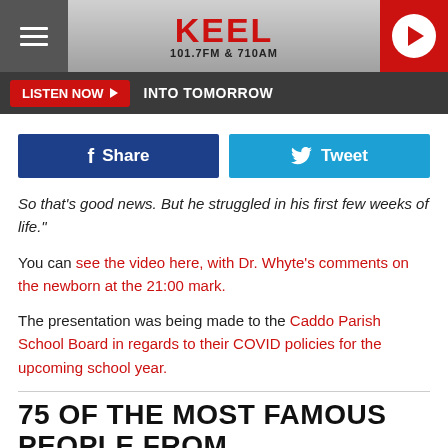KEEL 101.7FM & 710AM
LISTEN NOW ▶  INTO TOMORROW
[Figure (infographic): Facebook Share and Twitter Tweet social sharing buttons]
So that's good news. But he struggled in his first few weeks of life."
You can see the video here, with Dr. Whyte's comments on the newborn at the 21:00 mark.
The presentation was being made to the Caddo Parish School Board in regards to their COVID policies for the upcoming school year.
75 OF THE MOST FAMOUS PEOPLE FROM